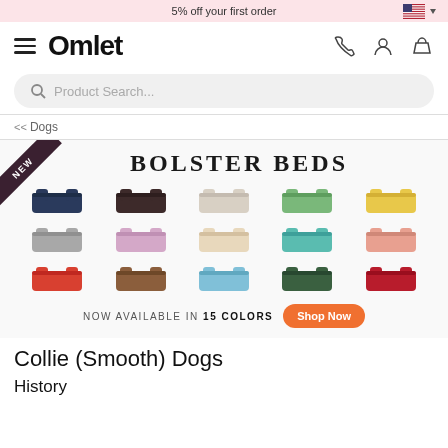5% off your first order
[Figure (logo): Omlet logo with hamburger menu, phone, account, and basket icons]
Product Search...
<< Dogs
[Figure (illustration): Bolster Beds banner showing 15 colored dog beds in a grid. Text: NEW BOLSTER BEDS NOW AVAILABLE IN 15 COLORS Shop Now]
Collie (Smooth) Dogs
History